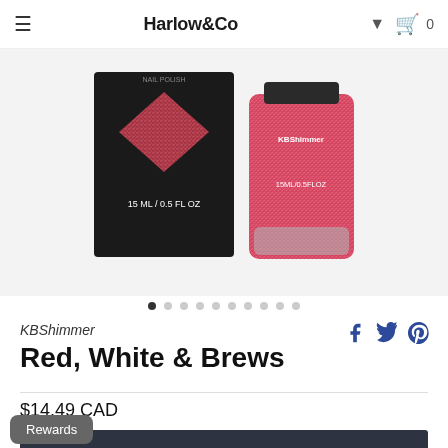Harlow&Co
[Figure (photo): Red glitter nail polish product photo showing a black box packaging labeled '15 ML / 0.5 FL OZ' and an open bottle of red glitter nail polish, branded KBShimmer, on a white background.]
KBShimmer
Red, White & Brews
$14.49 CAD
Add to Cart
Rewards